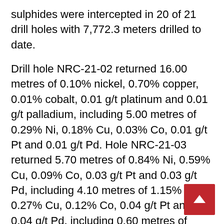sulphides were intercepted in 20 of 21 drill holes with 7,772.3 meters drilled to date.
Drill hole NRC-21-02 returned 16.00 metres of 0.10% nickel, 0.70% copper, 0.01% cobalt, 0.01 g/t platinum and 0.01 g/t palladium, including 5.00 metres of 0.29% Ni, 0.18% Cu, 0.03% Co, 0.01 g/t Pt and 0.01 g/t Pd. Hole NRC-21-03 returned 5.70 metres of 0.84% Ni, 0.59% Cu, 0.09% Co, 0.03 g/t Pt and 0.03 g/t Pd, including 4.10 metres of 1.15% Ni, 0.27% Cu, 0.12% Co, 0.04 g/t Pt and 0.04 g/t Pd, including 0.60 metres of 0.10% Ni, 3.75% Cu, 0.02% Co, 00.0% Pt and 0.00% Pd.
Hole NRC-21-04 returned 0.50 metres of 2.08% Ni, 0.88% Cu, 0.03% Co, 0.41 g/t Pt and 0.22 g/t Pd
Another 1,700 meters of drilling is planned at G along with borehole EM geophysics to quantify